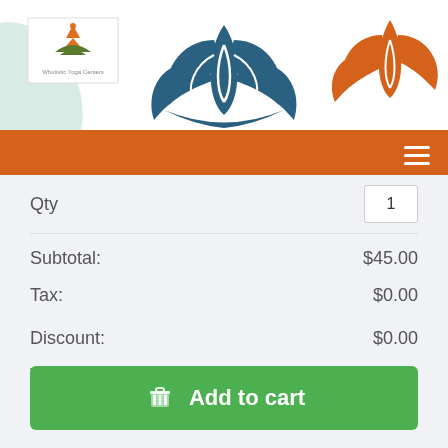[Figure (illustration): Website header with logo on left, large blue lotus flower in center, orange leaf/flower on right, on white background. Orange navigation bar below with hamburger menu icon.]
| Label | Value |
| --- | --- |
| Qty | 1 |
| Subtotal: | $45.00 |
| Tax: | $0.00 |
| Discount: | $0.00 |
| Total: | $45.00 |
Add to cart